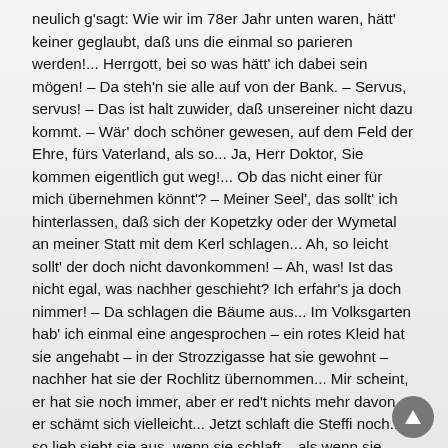neulich g'sagt: Wie wir im 78er Jahr unten waren, hätt' keiner geglaubt, daß uns die einmal so parieren werden!... Herrgott, bei so was hätt' ich dabei sein mögen! – Da steh'n sie alle auf von der Bank. – Servus, servus! – Das ist halt zuwider, daß unsereiner nicht dazu kommt. – Wär' doch schöner gewesen, auf dem Feld der Ehre, fürs Vaterland, als so... Ja, Herr Doktor, Sie kommen eigentlich gut weg!... Ob das nicht einer für mich übernehmen könnt'? – Meiner Seel', das sollt' ich hinterlassen, daß sich der Kopetzky oder der Wymetal an meiner Statt mit dem Kerl schlagen... Ah, so leicht sollt' der doch nicht davonkommen! – Ah, was! Ist das nicht egal, was nachher geschieht? Ich erfahr's ja doch nimmer! – Da schlagen die Bäume aus... Im Volksgarten hab' ich einmal eine angesprochen – ein rotes Kleid hat sie angehabt – in der Strozzigasse hat sie gewohnt – nachher hat sie der Rochlitz übernommen... Mir scheint, er hat sie noch immer, aber er red't nichts mehr davon – er schämt sich vielleicht... Jetzt schlaft die Steffi noch... so lieb sieht sie aus, wenn sie schlaft... als wenn sie nicht bis fünf zählen könnt'! – Na, wenn sie schlafen, schau'n sie alle so aus! – Ich sollt' ihr doch noch ein Wort schreiben... warum denn nicht? Es tut's ja doch ein jeder, daß er vorher noch Briefe schreibt. – Auch